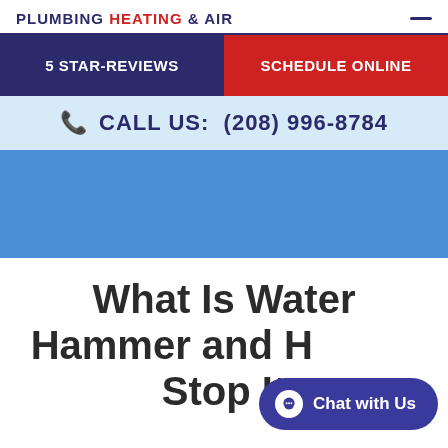PLUMBING HEATING & AIR
5 STAR-REVIEWS
SCHEDULE ONLINE
CALL US: (208) 996-8784
[Figure (photo): Blue background image area for the website hero section]
What Is Water Hammer and How to Stop It